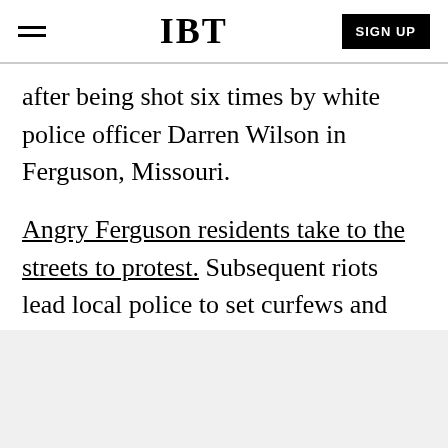IBT | SIGN UP
after being shot six times by white police officer Darren Wilson in Ferguson, Missouri.

Angry Ferguson residents take to the streets to protest. Subsequent riots lead local police to set curfews and introduce riot squads. Police are criticised for their heavy-handed response, firing tear gas and arresting hundreds of protesters.